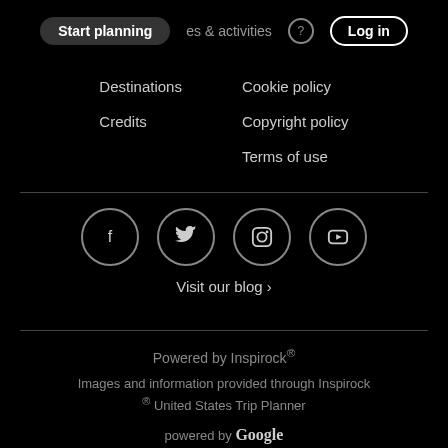Start planning | places & activities | Log in
Destinations
Cookie policy
Credits
Copyright policy
Terms of use
[Figure (illustration): Four social media icons in circles: Facebook (f), Twitter (bird), Instagram (camera), YouTube (play button)]
Visit our blog ›
Powered by Inspirock® Images and information provided through Inspirock ® United States Trip Planner powered by Google